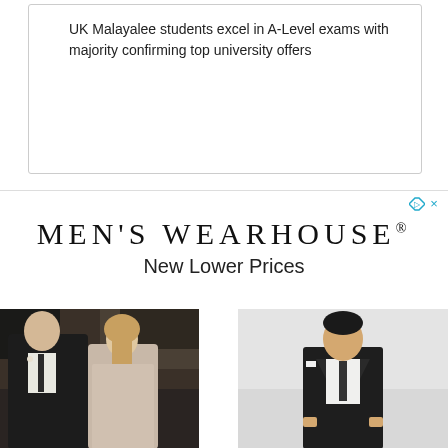UK Malayalee students excel in A-Level exams with majority confirming top university offers
[Figure (infographic): Men's Wearhouse advertisement with brand name and tagline 'New Lower Prices', with two photos: a couple at a wedding with man in dark suit and woman in formal dress, and a boy in a dark suit on a light background.]